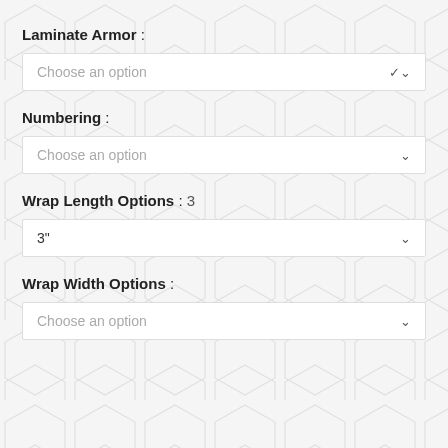Laminate Armor :
Choose an option
Numbering :
Choose an option
Wrap Length Options : 3
3"
Wrap Width Options :
Choose an option